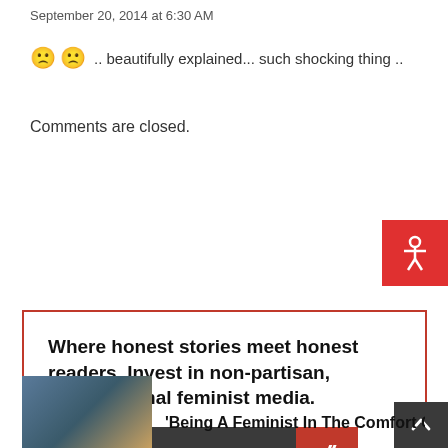September 20, 2014 at 6:30 AM
🙁 🙁 .. beautifully explained... such shocking thing ..
Comments are closed.
[Figure (other): Red accessibility button with person icon]
Where honest stories meet honest readers. Invest in non-partisan, intersectional feminist media.
[Figure (other): Become an FII Member button with dark background and red slash logo]
[Figure (other): Scroll to top dark button with upward chevron]
[Figure (photo): Thumbnail image for related article]
'Being A Feminist In The Comfort Of